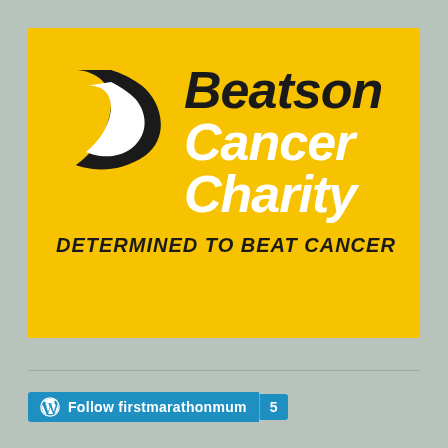[Figure (logo): Beatson Cancer Charity logo on yellow background. Heart-shaped black and white icon on left. Text reads 'Beatson' in black italic bold, 'Cancer' and 'Charity' in white italic bold. Tagline 'DETERMINED TO BEAT CANCER' in black bold italic below.]
Follow firstmarathonmum  5